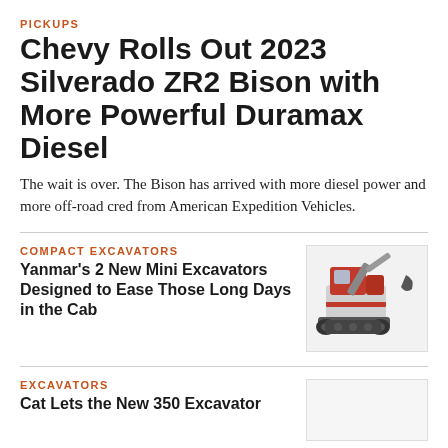PICKUPS
Chevy Rolls Out 2023 Silverado ZR2 Bison with More Powerful Duramax Diesel
The wait is over. The Bison has arrived with more diesel power and more off-road cred from American Expedition Vehicles.
COMPACT EXCAVATORS
Yanmar’s 2 New Mini Excavators Designed to Ease Those Long Days in the Cab
[Figure (photo): Red Yanmar mini excavator on white background]
EXCAVATORS
Cat Lets the New 350 Excavator